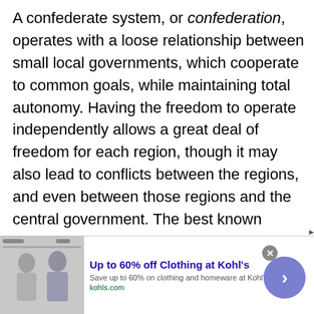A confederate system, or confederation, operates with a loose relationship between small local governments, which cooperate to common goals, while maintaining total autonomy. Having the freedom to operate independently allows a great deal of freedom for each region, though it may also lead to conflicts between the regions, and even between those regions and the central government. The best known example of confederation is the Confederate States of America, which ruled the American South during the Civil War. Because the weak structure of a confederate government could not support the rapidly expanding nation, the
[Figure (other): Advertisement banner: Up to 60% off Clothing at Kohl's. Save up to 60% on clothing and homeware at Kohls.com. kohls.com. Shows a photo of two people and a circular arrow button.]